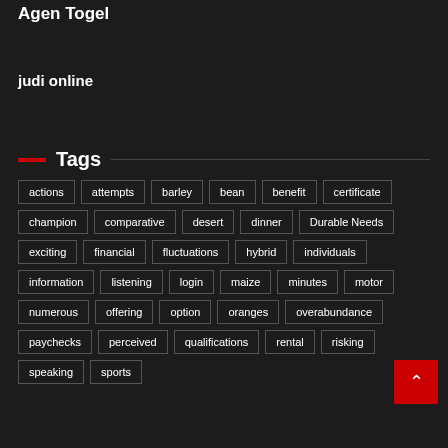Agen Togel
judi online
Tags
actions
attempts
barley
bean
benefit
certificate
champion
comparative
desert
dinner
Durable Needs
exciting
financial
fluctuations
hybrid
individuals
information
listening
login
maize
minutes
motor
numerous
offering
option
oranges
overabundance
paychecks
perceived
qualifications
rental
risking
speaking
sports